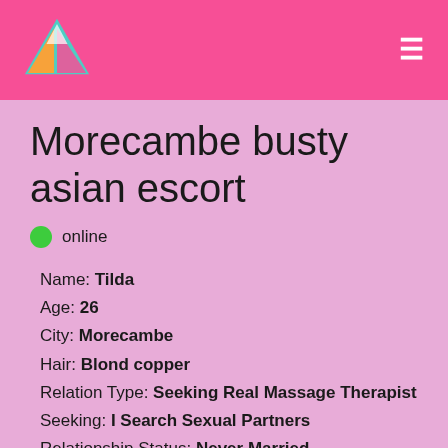Morecambe busty asian escort
online
Name: Tilda
Age: 26
City: Morecambe
Hair: Blond copper
Relation Type: Seeking Real Massage Therapist
Seeking: I Search Sexual Partners
Relationship Status: Never Married